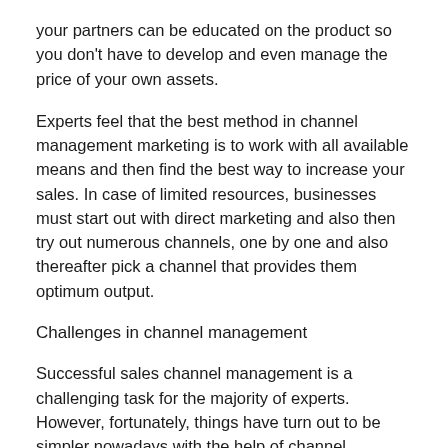your partners can be educated on the product so you don't have to develop and even manage the price of your own assets.
Experts feel that the best method in channel management marketing is to work with all available means and then find the best way to increase your sales. In case of limited resources, businesses must start out with direct marketing and also then try out numerous channels, one by one and also thereafter pick a channel that provides them optimum output.
Challenges in channel management
Successful sales channel management is a challenging task for the majority of experts. However, fortunately, things have turn out to be simpler nowadays with the help of channel management software. Present-day advanced channel management marketing resources help you to examine the overall channel strategy. This can help companies prioritize channels in a much better fashion so sales as well as the